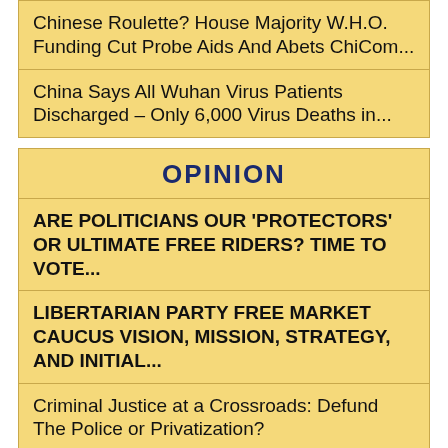Chinese Roulette? House Majority W.H.O. Funding Cut Probe Aids And Abets ChiCom...
China Says All Wuhan Virus Patients Discharged – Only 6,000 Virus Deaths in...
OPINION
ARE POLITICIANS OUR 'PROTECTORS' OR ULTIMATE FREE RIDERS? TIME TO VOTE...
LIBERTARIAN PARTY FREE MARKET CAUCUS VISION, MISSION, STRATEGY, AND INITIAL...
Criminal Justice at a Crossroads: Defund The Police or Privatization?
WHAT ELSE WILL POLITICIANS DO TO AVOID...